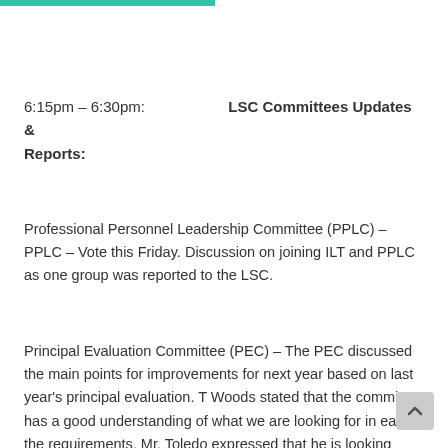[Figure (other): Teal/green horizontal bar at top of page]
6:15pm – 6:30pm: LSC Committees Updates & Reports:
Professional Personnel Leadership Committee (PPLC) – PPLC – Vote this Friday. Discussion on joining ILT and PPLC as one group was reported to the LSC.
Principal Evaluation Committee (PEC) – The PEC discussed the main points for improvements for next year based on last year's principal evaluation. T Woods stated that the committee has a good understanding of what we are looking for in each of the requirements. Mr. Toledo expressed that he is looking forward to